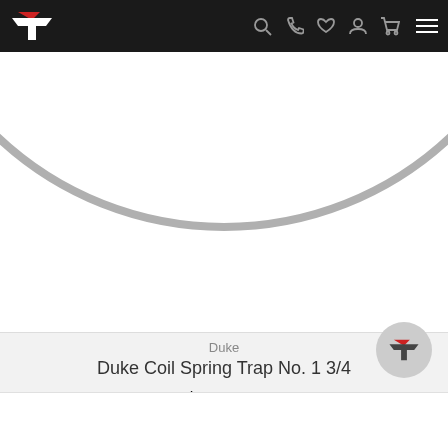Navigation bar with logo and icons
[Figure (photo): Product photo showing a circular coil spring trap ring on white background, viewed from above with a large ring shape.]
Duke
Duke Coil Spring Trap No. 1 3/4
$11.05